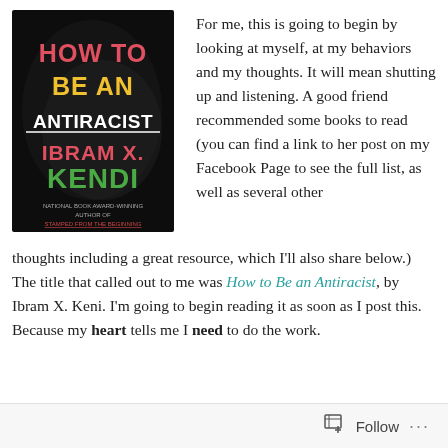[Figure (illustration): Book cover of 'How to Be an Antiracist' by Ibram X. Kendi. Black background with bold text: 'HOW TO' in red/pink, 'BE AN' in yellow, 'ANTIRACIST' in white, 'IBRAM X.' in green/red, 'KENDI' in green. Subtitle text: 'National Book Award-Winning Author of Stamped from the Beginning'.]
For me, this is going to begin by looking at myself, at my behaviors and my thoughts. It will mean shutting up and listening. A good friend recommended some books to read (you can find a link to her post on my Facebook Page to see the full list, as well as several other thoughts including a great resource, which I'll also share below.) The title that called out to me was How to Be an Antiracist, by Ibram X. Keni. I'm going to begin reading it as soon as I post this. Because my heart tells me I need to do the work.
Follow ...